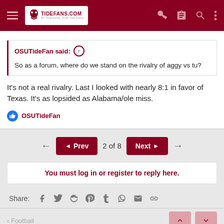TideFans.com
OSUTideFan said: ↑
So as a forum, where do we stand on the rivalry of aggy vs tu?
It's not a real rivalry. Last I looked with nearly 8:1 in favor of Texas. It's as lopsided as Alabama/ole miss.
OSUTideFan
◄ Prev  2 of 8  Next ►
You must log in or register to reply here.
Share:
< Football